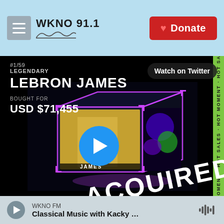WKNO 91.1 | Donate
[Figure (screenshot): NBA Top Shot NFT card showing LeBron James #1/59 Legendary, bought for USD $71,455, with a 3D cube display and ACQUIRED stamp. Watch on Twitter button visible. HOT MOMENT HOT SALES ticker on right side.]
WKNO FM — Classical Music with Kacky ...